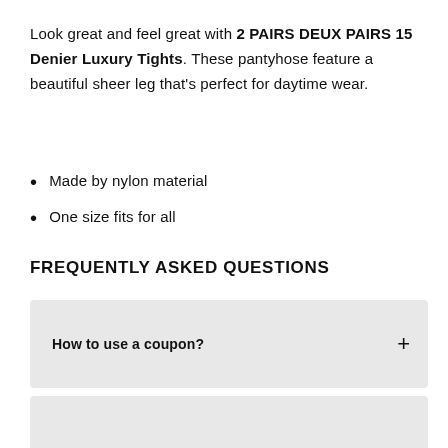Look great and feel great with 2 PAIRS DEUX PAIRS 15 Denier Luxury Tights. These pantyhose feature a beautiful sheer leg that's perfect for daytime wear.
Made by nylon material
One size fits for all
FREQUENTLY ASKED QUESTIONS
How to use a coupon?
Is the quality of the product good?
Is Neast a genuine site?